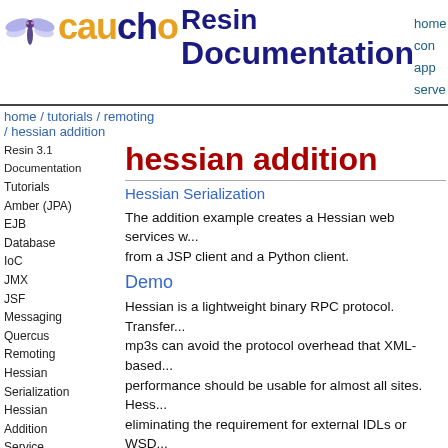caucho Resin Documentation | home | app server
home / tutorials / remoting / hessian addition
hessian addition
Resin 3.1 Documentation
Tutorials
Amber (JPA)
EJB
Database
IoC
JMX
JSF
Messaging
Quercus
Remoting
Hessian Serialization
Hessian Addition
Service Addition
Hessian with DI
Burlan Addition
Hessian Serialization
The addition example creates a Hessian web services w... from a JSP client and a Python client.
Demo
Hessian is a lightweight binary RPC protocol. Transfer... mp3s can avoid the protocol overhead that XML-based... performance should be usable for almost all sites. Hess... eliminating the requirement for external IDLs or WSD... and language-independent, non-Java Hessian impleme... comprehensive test suites.
This tutorial only requires the open source Java implem...
It can be downloaded from http://www.caucho.com/h...